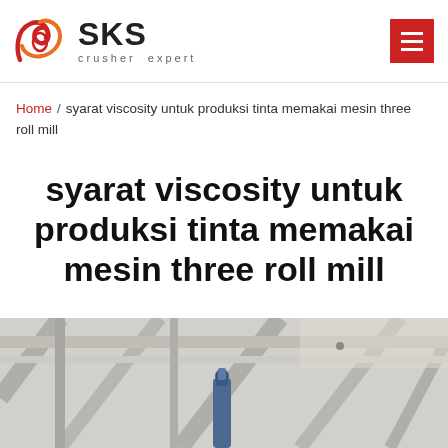SKS crusher expert
Home / syarat viscosity untuk produksi tinta memakai mesin three roll mill
syarat viscosity untuk produksi tinta memakai mesin three roll mill
[Figure (photo): Industrial machinery photo showing overhead structure with mechanical components, gray tones]